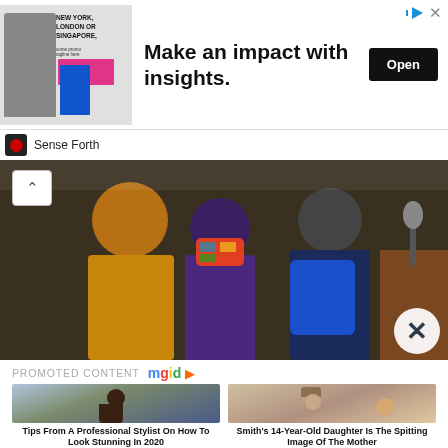[Figure (infographic): Advertisement banner: image on left showing a man in suit with blue chart graphic and pink block, text 'NEW YORK, LONDON OR SINGAPORE,' with headline 'Make an impact with insights.' and black Open button on right, small ad icons top right]
Sense Forth
[Figure (photo): News photograph showing people in a courtroom or official setting, one person wearing a colorful face mask, person in yellow jacket, person in blue suit with blue bag, microphone visible on right]
PROMOTED CONTENT mgid
[Figure (photo): Promotional thumbnail: young woman with long dark hair outdoors in urban setting]
Tips From A Professional Stylist On How To Look Stunning In 2020
[Figure (photo): Promotional thumbnail: young man in baseball cap with woman, appears to be a celebrity photo]
Smith's 14-Year-Old Daughter Is The Spitting Image Of The Mother